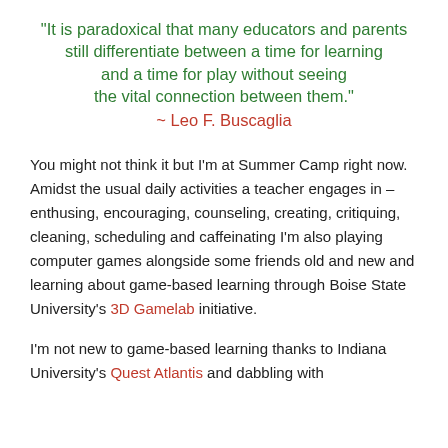“It is paradoxical that many educators and parents still differentiate between a time for learning and a time for play without seeing the vital connection between them.”
~ Leo F. Buscaglia
You might not think it but I’m at Summer Camp right now. Amidst the usual daily activities a teacher engages in – enthusing, encouraging, counseling, creating, critiquing, cleaning, scheduling and caffeinating I’m also playing computer games alongside some friends old and new and learning about game-based learning through Boise State University’s 3D Gamelab initiative.
I’m not new to game-based learning thanks to Indiana University’s Quest Atlantis and dabbling with